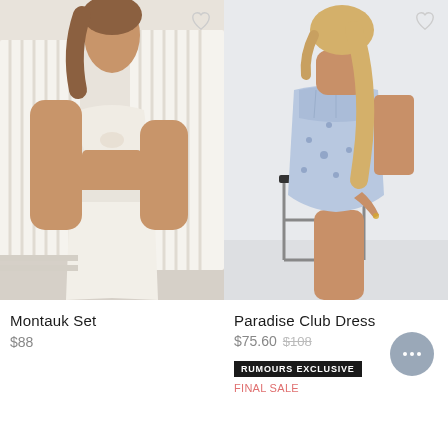[Figure (photo): Model wearing a white striped open shirt over a knotted white crop bra top and white wide-leg pants, photographed indoors]
[Figure (photo): Model wearing a blue floral mini dress/corset style with spaghetti straps, standing near a black metal chair]
Montauk Set
$88
Paradise Club Dress
$75.60 $108
RUMOURS EXCLUSIVE
FINAL SALE